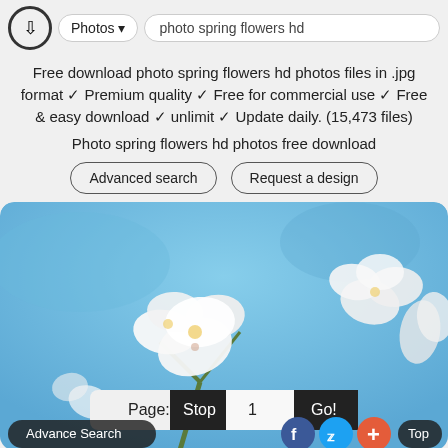Photos ▾  photo spring flowers hd
Free download photo spring flowers hd photos files in .jpg format ✓ Premium quality ✓ Free for commercial use ✓ Free & easy download ✓ unlimit ✓ Update daily. (15,473 files)
Photo spring flowers hd photos free download
Advanced search  Request a design
[Figure (photo): Close-up photograph of white cherry blossom flowers against a blue sky background]
Page: Stop 1 Go!
Advance Search
f  (Twitter bird)  +  Top